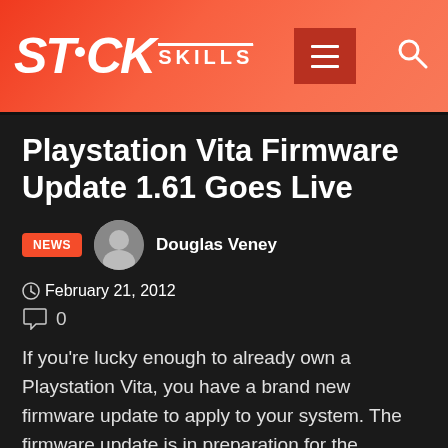STICK SKILLS
Playstation Vita Firmware Update 1.61 Goes Live
NEWS   Douglas Veney   February 21, 2012
0
If you're lucky enough to already own a Playstation Vita, you have a brand new firmware update to apply to your system.  The firmware update is in preparation for the Playstation Vita's midnight launches going on through North America tonight.